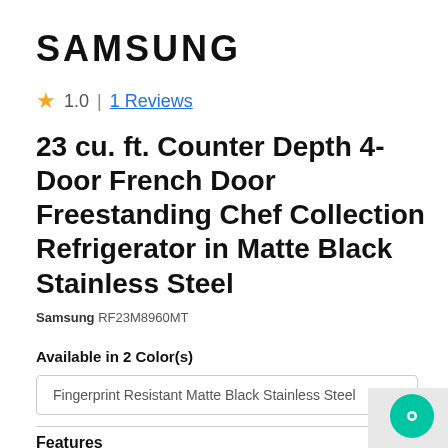SAMSUNG
★ 1.0 | 1 Reviews
23 cu. ft. Counter Depth 4-Door French Door Freestanding Chef Collection Refrigerator in Matte Black Stainless Steel
Samsung RF23M8960MT
Available in 2 Color(s)
Fingerprint Resistant Matte Black Stainless Steel
Features